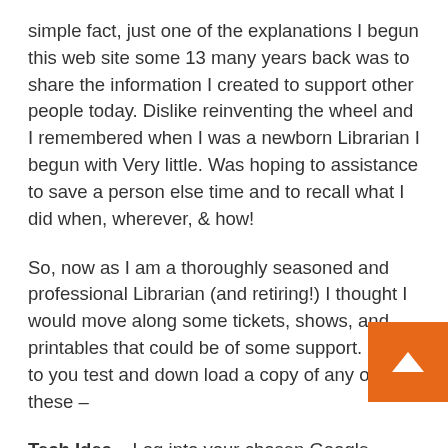simple fact, just one of the explanations I begun this web site some 13 many years back was to share the information I created to support other people today. Dislike reinventing the wheel and I remembered when I was a newborn Librarian I begun with Very little. Was hoping to assistance to save a person else time and to recall what I did when, wherever, & how!
So, now as I am a thoroughly seasoned and professional Librarian (and retiring!) I thought I would move along some tickets, shows, and printables that could be of some support. Prior to you test and down load a copy of any of these –
Tech Idea – Log into your chosen Google Travel. get a information you will need authorization – th signifies you might be not thoroughly logged in. You should Login and try again. Thank you!